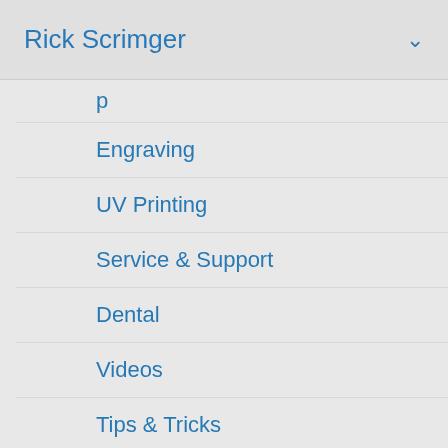Rick Scrimger ∨
(partial top item)
Engraving
UV Printing
Service & Support
Dental
Videos
Tips & Tricks
Software
Color Management
(partial bottom item)